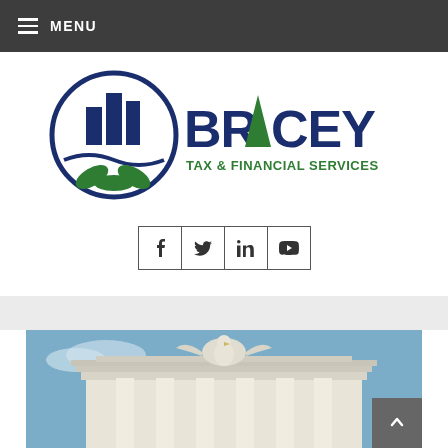MENU
[Figure (logo): Bracey Tax & Financial Services logo with circular emblem containing building silhouettes and green leaves, navy blue text reading BRACEY with green leaf accent, green text TAX & FINANCIAL SERVICES]
[Figure (infographic): Social media icon buttons: Facebook (f), Twitter (bird), LinkedIn (in), YouTube (play button), each in bordered square boxes]
[Figure (photo): Photo of a neoclassical government building with white stone columns and an eagle sculpture on top, against a blue sky]